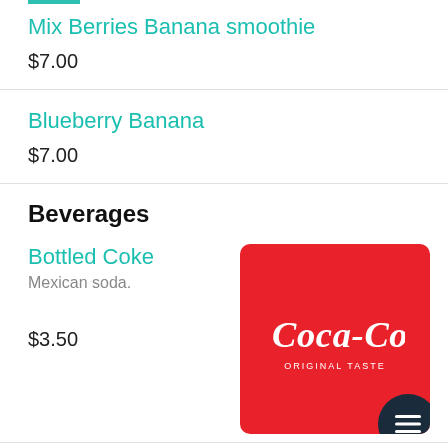Mix Berries Banana smoothie
$7.00
Blueberry Banana
$7.00
Beverages
Bottled Coke
Mexican soda.
$3.50
[Figure (logo): Coca-Cola Original Taste logo on red rounded square background]
Jarritos
$3.00